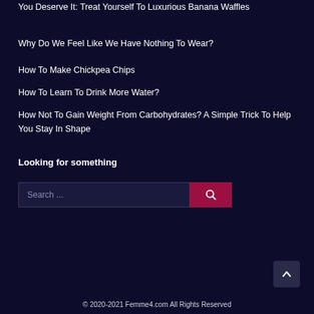You Deserve It: Treat Yourself To Luxurious Banana Waffles
Why Do We Feel Like We Have Nothing To Wear?
How To Make Chickpea Chips
How To Learn To Drink More Water?
How Not To Gain Weight From Carbohydrates? A Simple Trick To Help You Stay In Shape
Looking for something
[Figure (screenshot): Search bar with text 'Search ...' and a magnifying glass button on a dark background]
© 2020-2021 Femme4.com All Rights Reserved